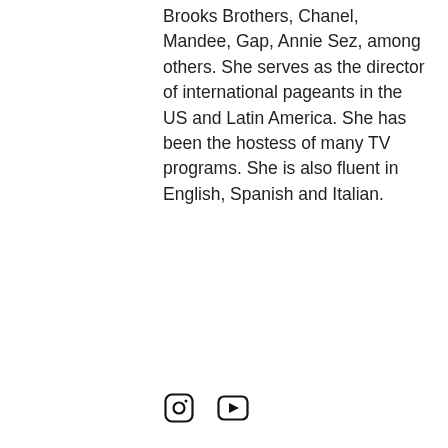Brooks Brothers, Chanel, Mandee, Gap, Annie Sez, among others. She serves as the director of international pageants in the US and Latin America. She has been the hostess of many TV programs. She is also fluent in English, Spanish and Italian.
[Figure (other): Two social media icons: Instagram and YouTube, displayed at the bottom of the page.]